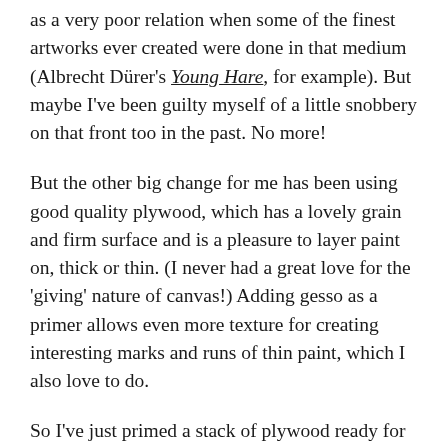as a very poor relation when some of the finest artworks ever created were done in that medium (Albrecht Dürer's Young Hare, for example). But maybe I've been guilty myself of a little snobbery on that front too in the past. No more!
But the other big change for me has been using good quality plywood, which has a lovely grain and firm surface and is a pleasure to layer paint on, thick or thin. (I never had a great love for the 'giving' nature of canvas!) Adding gesso as a primer allows even more texture for creating interesting marks and runs of thin paint, which I also love to do.
So I've just primed a stack of plywood ready for painting a series of Bass Rocks of various colours and moods. The above ones are the first of many to come and they will be available for sale later this week at the 2018 Art Friends of St Columbus Hospice